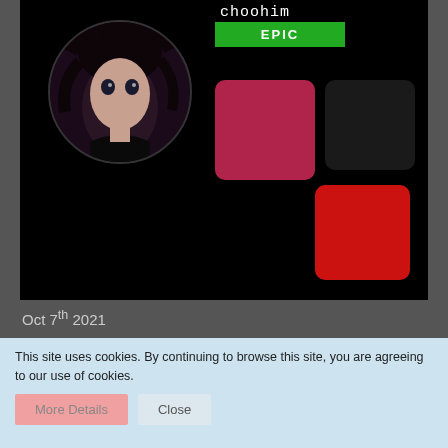[Figure (screenshot): User profile card with avatar (dark-haired anime character), green EPIC badge, username 'choohim', and color swatches (crimson, dark gray, red)]
Oct 7th 2021
Quote from ekser
still on repeat
[Figure (illustration): Pepe the frog wearing headphones emoji]
This site uses cookies. By continuing to browse this site, you are agreeing to our use of cookies.